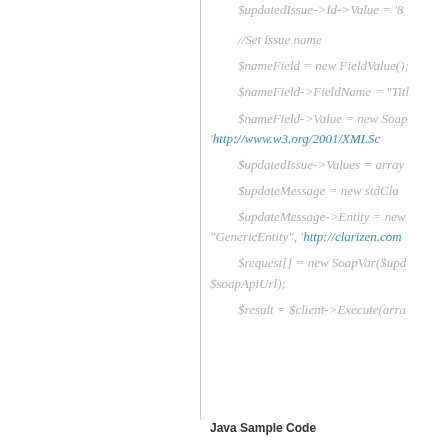[Figure (screenshot): Code snippet showing PHP-style code with lines referencing $updatedIssue->Id->Value, //Set issue name, $nameField = new FieldValue(), $nameField->FieldName = "Titl...", $nameField->Value = new Soap..., 'http://www.w3.org/2001/XMLSc...', $updatedIssue->Values = array..., $updateMessage = new stdCla..., $updateMessage->Entity = new..., "GenericEntity", 'http://clarizen.com...', $request[] = new SoapVar($upd... $soapApiUrl);, $result = $client->Execute(arra...]
Java Sample Code